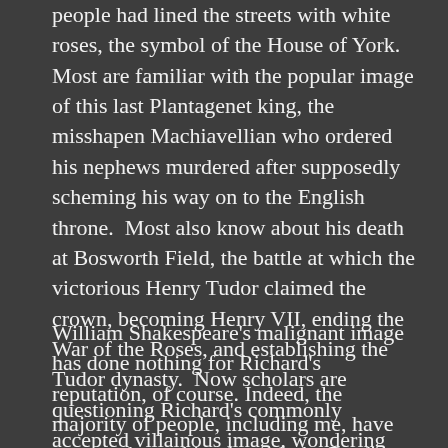people had lined the streets with white roses, the symbol of the House of York. Most are familiar with the popular image of this last Plantagenet king, the misshapen Machiavellian who ordered his nephews murdered after supposedly scheming his way on to the English throne. Most also know about his death at Bosworth Field, the battle at which the victorious Henry Tudor claimed the crown, becoming Henry VII, ending the War of the Roses, and establishing the Tudor dynasty. Now scholars are questioning Richard's commonly accepted villainous image, wondering how much is fact and how much is a version written and promoted by the winning Tudor king?
William Shakespeare's malignant image has done nothing for Richard's reputation, of course. Indeed, the majority of people, including me, have come to know him through the Bard's play. Peter